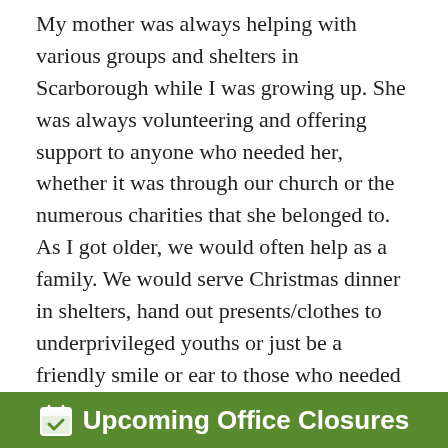My mother was always helping with various groups and shelters in Scarborough while I was growing up. She was always volunteering and offering support to anyone who needed her, whether it was through our church or the numerous charities that she belonged to. As I got older, we would often help as a family. We would serve Christmas dinner in shelters, hand out presents/clothes to underprivileged youths or just be a friendly smile or ear to those who needed it. Unfortunately though, my mother's life was suddenly cut short. After being stricken with a rapid form of cancer, she passed away at the age of 64. Heaven had now gained another angel.
My mother had touched so many lives that at her funeral, strangers who had found her picture in the newspaper Obituary secti... strangers who...
[Figure (other): Green notification banner overlay reading 'Upcoming Office Closures' with a calendar/checkmark icon on the left, displayed in white text on a green background at the bottom of the page.]